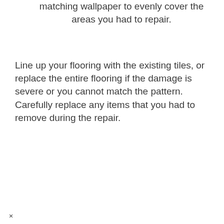matching wallpaper to evenly cover the areas you had to repair.
Line up your flooring with the existing tiles, or replace the entire flooring if the damage is severe or you cannot match the pattern. Carefully replace any items that you had to remove during the repair.
×